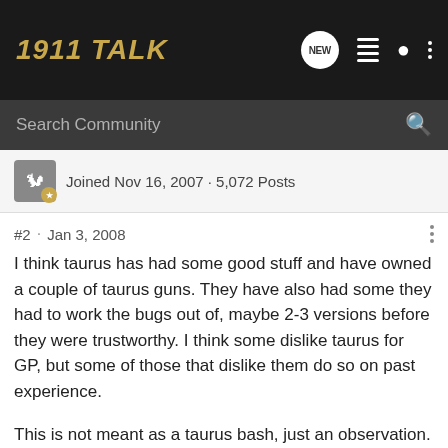1911 TALK
Search Community
Joined Nov 16, 2007 · 5,072 Posts
#2 · Jan 3, 2008
I think taurus has had some good stuff and have owned a couple of taurus guns. They have also had some they had to work the bugs out of, maybe 2-3 versions before they were trustworthy. I think some dislike taurus for GP, but some of those that dislike them do so on past experience.
This is not meant as a taurus bash, just an observation. I do think they have done a lot toward providing an affordable handgun and am glad they are part of the scene.